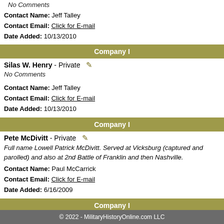No Comments
Contact Name: Jeff Talley
Contact Email: Click for E-mail
Date Added: 10/13/2010
Company I
Silas W. Henry - Private
No Comments
Contact Name: Jeff Talley
Contact Email: Click for E-mail
Date Added: 10/13/2010
Company I
Pete McDivitt - Private
Full name Lowell Patrick McDivitt. Served at Vicksburg (captured and parolled) and also at 2nd Battle of Franklin and then Nashville.
Contact Name: Paul McCarrick
Contact Email: Click for E-mail
Date Added: 6/16/2009
Company I
© 2022 - MilitaryHistoryOnline.com LLC